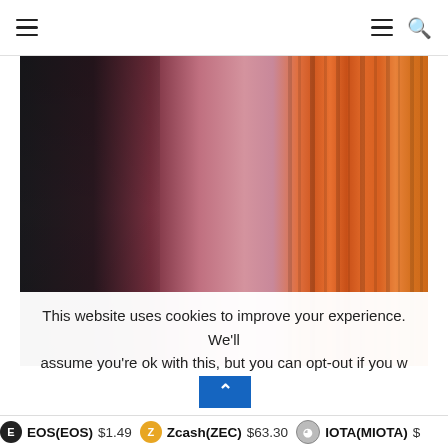Navigation header with hamburger menu and search icon
[Figure (photo): Abstract blurred vertical color bands transitioning from dark charcoal/black on the left through dark rose and pink tones in the middle to vibrant orange and warm amber on the right.]
This website uses cookies to improve your experience. We'll assume you're ok with this, but you can opt-out if you w
EOS(EOS) $1.49   Zcash(ZEC) $63.30   IOTA(MIOTA) $